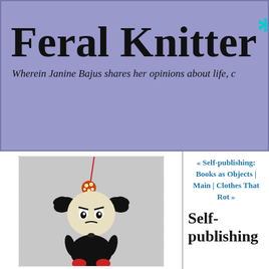Feral Knitter*
Wherein Janine Bajus shares her opinions about life, c
[Figure (photo): A small black anime-style figurine/doll wearing a black outfit with red shoes and bows, with an angry expression. It has a red dangly charm with a spotted ball hanging above its head. The figure has a pale face and dark wide eyes.]
« Self-publishing: Books as Objects | Main | Clothes That Rot »
Self-publishing